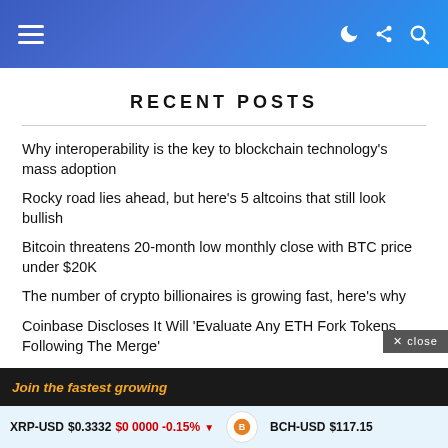Navigation header with menu, dark mode, share, and search icons
RECENT POSTS
Why interoperability is the key to blockchain technology's mass adoption
Rocky road lies ahead, but here's 5 altcoins that still look bullish
Bitcoin threatens 20-month low monthly close with BTC price under $20K
The number of crypto billionaires is growing fast, here's why
Coinbase Discloses It Will 'Evaluate Any ETH Fork Tokens Following The Merge'
XRP-USD $0.3332 $0 0000 -0.15% ▼ | BCH-USD $117.15